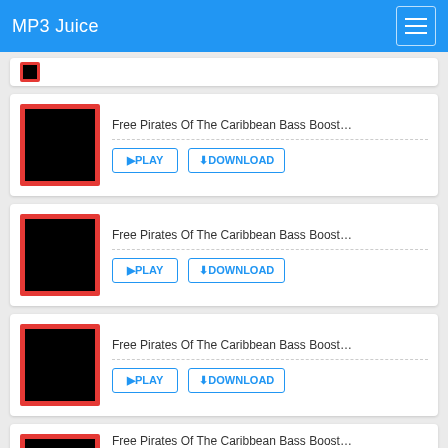MP3 Juice
[Figure (screenshot): Partial music card at top (cropped)]
Free Pirates Of The Caribbean Bass Boost...
PLAY  DOWNLOAD
Free Pirates Of The Caribbean Bass Boost...
PLAY  DOWNLOAD
Free Pirates Of The Caribbean Bass Boost...
PLAY  DOWNLOAD
Free Pirates Of The Caribbean Bass Boost...